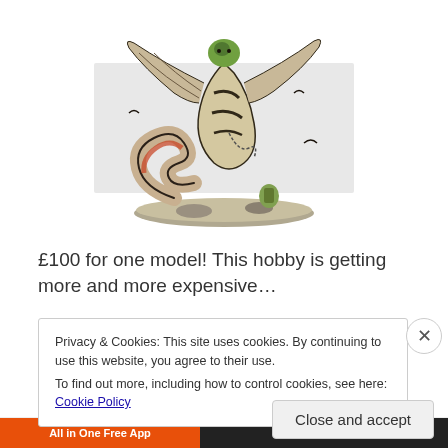[Figure (illustration): A painted Warhammer fantasy miniature figure — a large monster or daemon creature with a coiled serpentine tail, wings, and a rider, mounted on a scenic base. Colors include beige/bone, black, red/orange, and green.]
£100 for one model! This hobby is getting more and more expensive…
Privacy & Cookies: This site uses cookies. By continuing to use this website, you agree to their use.
To find out more, including how to control cookies, see here: Cookie Policy
Close and accept